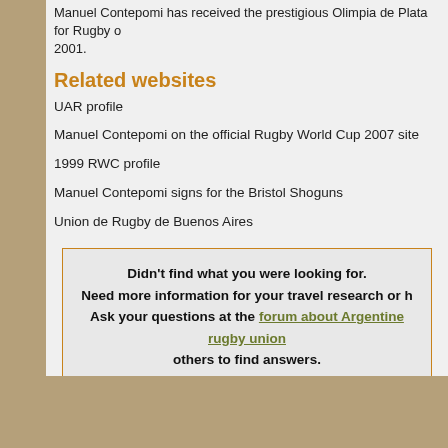Manuel Contepomi has received the prestigious Olimpia de Plata for Rugby on 2001.
Related websites
UAR profile
Manuel Contepomi on the official Rugby World Cup 2007 site
1999 RWC profile
Manuel Contepomi signs for the Bristol Shoguns
Union de Rugby de Buenos Aires
Didn't find what you were looking for. Need more information for your travel research or h Ask your questions at the forum about Argentine rugby union others to find answers.
This article is licensed under the GNU Free Documentation License. It uses material from the Wi